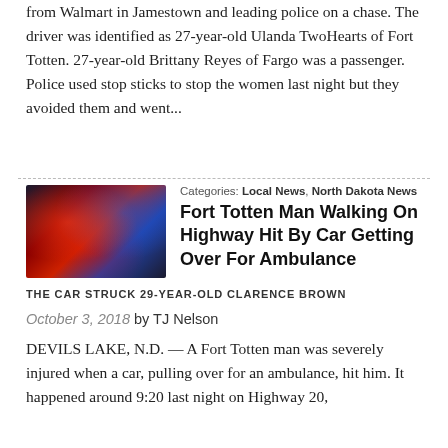from Walmart in Jamestown and leading police on a chase. The driver was identified as 27-year-old Ulanda TwoHearts of Fort Totten. 27-year-old Brittany Reyes of Fargo was a passenger. Police used stop sticks to stop the women last night but they avoided them and went...
[Figure (photo): Ambulance with red and blue emergency lights at night]
Categories: Local News, North Dakota News
Fort Totten Man Walking On Highway Hit By Car Getting Over For Ambulance
THE CAR STRUCK 29-YEAR-OLD CLARENCE BROWN
October 3, 2018 by TJ Nelson
DEVILS LAKE, N.D. — A Fort Totten man was severely injured when a car, pulling over for an ambulance, hit him. It happened around 9:20 last night on Highway 20,